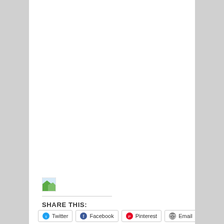[Figure (photo): Broken/missing image placeholder with green landscape icon thumbnail]
SHARE THIS:
Twitter  Facebook  Pinterest  Email